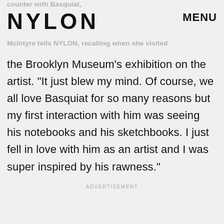NYLON   MENU
counter with Basquiat, McIntyre tells NYLON, recalling when she visited
the Brooklyn Museum’s exhibition on the artist. “It just blew my mind. Of course, we all love Basquiat for so many reasons but my first interaction with him was seeing his notebooks and his sketchbooks. I just fell in love with him as an artist and I was super inspired by his rawness.”
ADVERTISEMENT